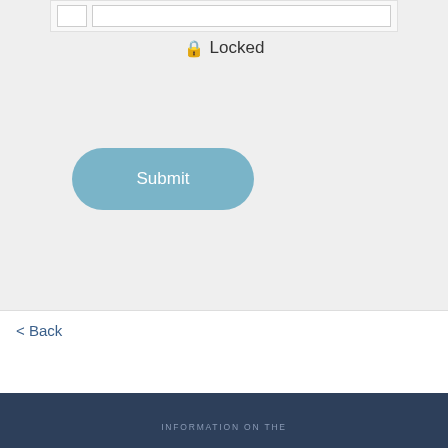[Figure (screenshot): Form section with an input row at the top showing a small checkbox/input box and a text field, followed by a red lock icon and 'Locked' label, and a teal rounded Submit button below on a light gray background.]
< Back
INFORMATION ON THE